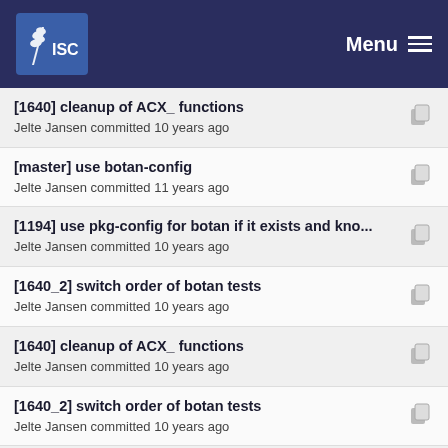ISC | Menu
[1640] cleanup of ACX_ functions
Jelte Jansen committed 10 years ago
[master] use botan-config
Jelte Jansen committed 11 years ago
[1194] use pkg-config for botan if it exists and kno...
Jelte Jansen committed 10 years ago
[1640_2] switch order of botan tests
Jelte Jansen committed 10 years ago
[1640] cleanup of ACX_ functions
Jelte Jansen committed 10 years ago
[1640_2] switch order of botan tests
Jelte Jansen committed 10 years ago
[1640_2] try full compilation for potential botan set...
Jelte Jansen committed 10 years ago
[1640] cleanup of ACX_ functions